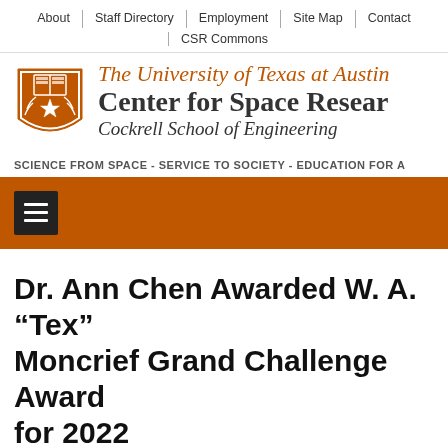About | Staff Directory | Employment | Site Map | Contact | CSR Commons
[Figure (logo): University of Texas at Austin shield/crest logo in orange and white]
The University of Texas at Austin Center for Space Research Cockrell School of Engineering
SCIENCE FROM SPACE - SERVICE TO SOCIETY - EDUCATION FOR A
[Figure (other): Orange navigation bar with dark hamburger menu icon (three horizontal lines)]
Dr. Ann Chen Awarded W. A. “Tex” Moncrief Grand Challenge Award for 2022